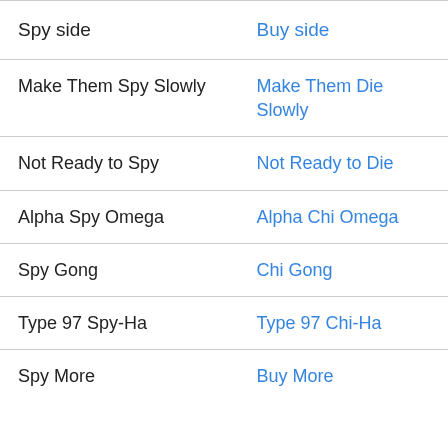| Spy side | Buy side |
| --- | --- |
| Make Them Spy Slowly | Make Them Die Slowly |
| Not Ready to Spy | Not Ready to Die |
| Alpha Spy Omega | Alpha Chi Omega |
| Spy Gong | Chi Gong |
| Type 97 Spy-Ha | Type 97 Chi-Ha |
| Spy More | Buy More |